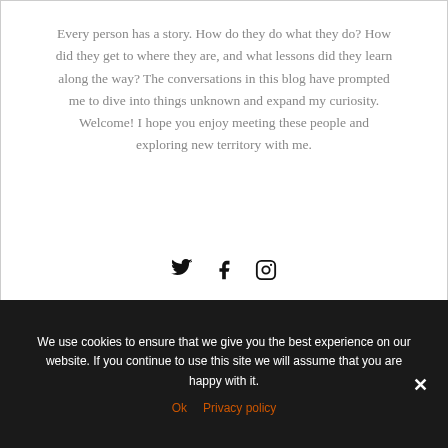Every person has a story. How do they do what they do? How did they get to where they are, and what lessons did they learn along the way? The conversations in this blog have prompted me to dive into things unknown and expand my curiosity. Welcome! I hope you enjoy meeting these people and exploring new territory with me.
[Figure (infographic): Social media icons: Twitter (bird), Facebook (f), Instagram (camera)]
We use cookies to ensure that we give you the best experience on our website. If you continue to use this site we will assume that you are happy with it.
Ok   Privacy policy